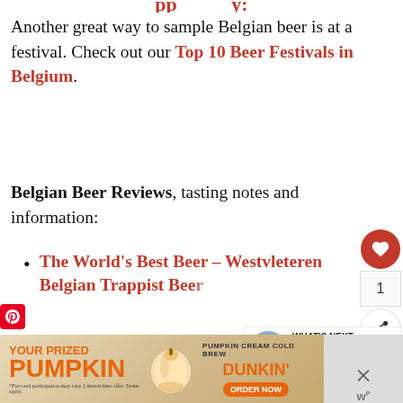Another great way to sample Belgian beer is at a festival. Check out our Top 10 Beer Festivals in Belgium.
Belgian Beer Reviews, tasting notes and information:
The World's Best Beer – Westvleteren Belgian Trappist Beer
Westmalle Tripel
[Figure (screenshot): Social sharing sidebar with heart/like button (red circle with heart icon), count '1', and share button]
[Figure (screenshot): What's Next panel showing a circular thumbnail image of a building/town with text 'WHAT'S NEXT → 6 Things to Do in Beersel,...']
[Figure (screenshot): Dunkin advertisement banner: 'YOUR PRIZED PUMPKIN' with 'PUMPKIN CREAM COLD BREW DUNKIN ORDER NOW' and a pumpkin cream drink image]